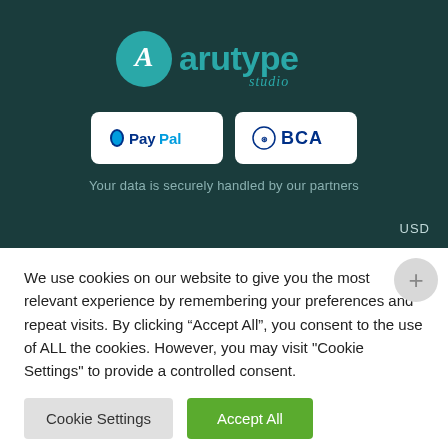[Figure (logo): Arutype Studio logo — teal circle with stylized 'A' glyph, followed by 'arutype' in teal and 'studio' in smaller teal italic text]
[Figure (logo): PayPal payment badge (white rounded rectangle with PayPal logo and text) and BCA bank badge (white rounded rectangle with BCA logo and text) side by side]
Your data is securely handled by our partners
USD
We use cookies on our website to give you the most relevant experience by remembering your preferences and repeat visits. By clicking “Accept All”, you consent to the use of ALL the cookies. However, you may visit "Cookie Settings" to provide a controlled consent.